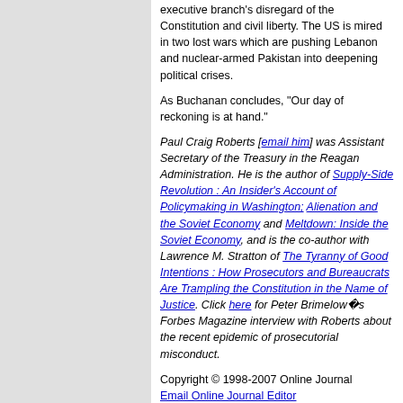Congress and the press have enabled the executive branch's disregard of the Constitution and civil liberty. The US is mired in two lost wars which are pushing Lebanon and nuclear-armed Pakistan into deepening political crises.
As Buchanan concludes, "Our day of reckoning is at hand."
Paul Craig Roberts [email him] was Assistant Secretary of the Treasury in the Reagan Administration. He is the author of Supply-Side Revolution : An Insider's Account of Policymaking in Washington; Alienation and the Soviet Economy and Meltdown: Inside the Soviet Economy, and is the co-author with Lawrence M. Stratton of The Tyranny of Good Intentions : How Prosecutors and Bureaucrats Are Trampling the Constitution in the Name of Justice. Click here for Peter Brimelow's Forbes Magazine interview with Roberts about the recent epidemic of prosecutorial misconduct.
Copyright © 1998-2007 Online Journal
Email Online Journal Editor
Top of Page